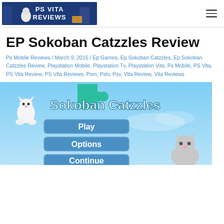PS Vita Reviews
EP Sokoban Catzzles Review
Ps Mobile Reviews / March 9, 2015 / Ep Games, Ep Sokoban Catzzles, Ep Sokoban Catzzles Review, Playstation Mobile, Playstation Tv, Playstation Vita, Ps Mobile, PS Vita, PS Vita Review, PS Vita Reviews, Psm, Pstv, Psv, Vita Review, Vita Reviews
[Figure (screenshot): Sokoban Catzzles game title screen with Play, Options buttons and a cat character on a sky-blue background]